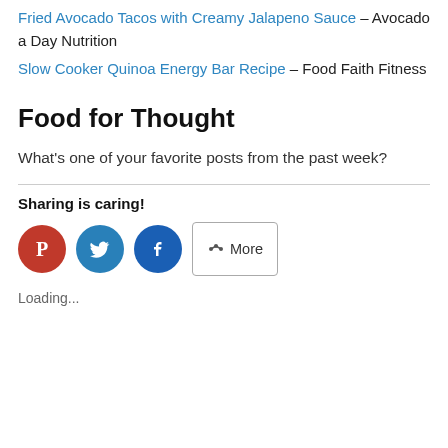Fried Avocado Tacos with Creamy Jalapeno Sauce – Avocado a Day Nutrition
Slow Cooker Quinoa Energy Bar Recipe – Food Faith Fitness
Food for Thought
What’s one of your favorite posts from the past week?
Sharing is caring!
[Figure (infographic): Social sharing buttons: Pinterest (red circle with P icon), Twitter (blue circle with bird icon), Facebook (dark blue circle with f icon), and a More button with share icon]
Loading...